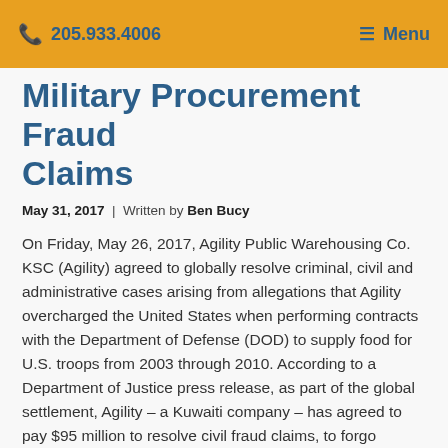205.933.4006  ≡ Menu
Military Procurement Fraud Claims
May 31, 2017  |  Written by Ben Bucy
On Friday, May 26, 2017, Agility Public Warehousing Co. KSC (Agility) agreed to globally resolve criminal, civil and administrative cases arising from allegations that Agility overcharged the United States when performing contracts with the Department of Defense (DOD) to supply food for U.S. troops from 2003 through 2010. According to a Department of Justice press release, as part of the global settlement, Agility – a Kuwaiti company – has agreed to pay $95 million to resolve civil fraud claims, to forgo administrative claims against the United States seeking $249 million in additional payments under its military food contracts, and to plead guilty to a criminal misdemeanor offense for theft of government funds. DOD's Defense Logistics Agency (DLA) will